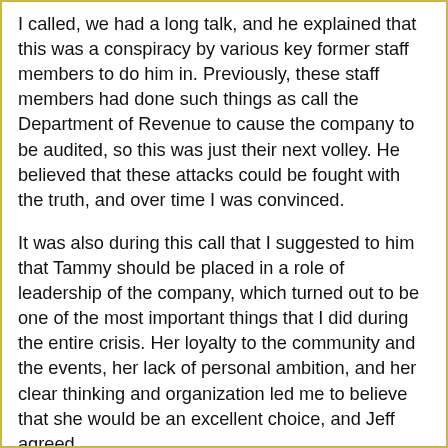I called, we had a long talk, and he explained that this was a conspiracy by various key former staff members to do him in. Previously, these staff members had done such things as call the Department of Revenue to cause the company to be audited, so this was just their next volley. He believed that these attacks could be fought with the truth, and over time I was convinced.
It was also during this call that I suggested to him that Tammy should be placed in a role of leadership of the company, which turned out to be one of the most important things that I did during the entire crisis. Her loyalty to the community and the events, her lack of personal ambition, and her clear thinking and organization led me to believe that she would be an excellent choice, and Jeff agreed.
I spoke to some of the other staff, and they agreed with me. If this was, in fact, just an attack by disgruntled former staff, then we could not give in. We had to stand up to them and show them that we would not back down. To our perspective, Jeff Mach was the creative genius who had created these amazing events, and without him we would